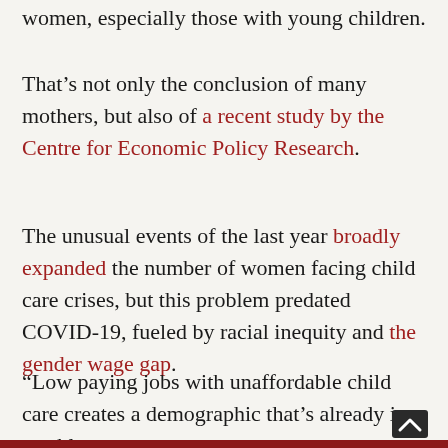women, especially those with young children.
That’s not only the conclusion of many mothers, but also of a recent study by the Centre for Economic Policy Research.
The unusual events of the last year broadly expanded the number of women facing child care crises, but this problem predated COVID-19, fueled by racial inequity and the gender wage gap.
“Low paying jobs with unaffordable child care creates a demographic that’s already in trouble